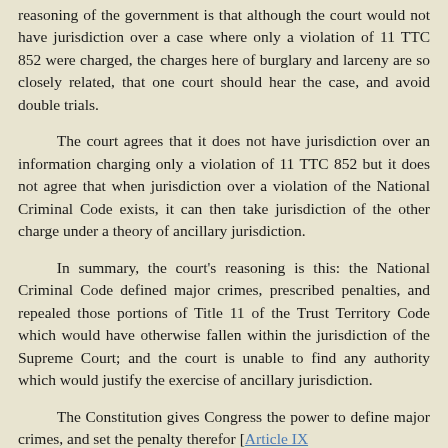reasoning of the government is that although the court would not have jurisdiction over a case where only a violation of 11 TTC 852 were charged, the charges here of burglary and larceny are so closely related, that one court should hear the case, and avoid double trials.
The court agrees that it does not have jurisdiction over an information charging only a violation of 11 TTC 852 but it does not agree that when jurisdiction over a violation of the National Criminal Code exists, it can then take jurisdiction of the other charge under a theory of ancillary jurisdiction.
In summary, the court's reasoning is this: the National Criminal Code defined major crimes, prescribed penalties, and repealed those portions of Title 11 of the Trust Territory Code which would have otherwise fallen within the jurisdiction of the Supreme Court; and the court is unable to find any authority which would justify the exercise of ancillary jurisdiction.
The Constitution gives Congress the power to define major crimes, and set the penalty therefor [Article IX